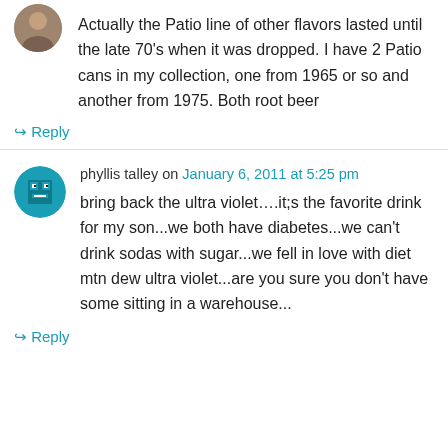[Figure (photo): User avatar photo - partial view of a person's profile picture at top left]
Actually the Patio line of other flavors lasted until the late 70's when it was dropped. I have 2 Patio cans in my collection, one from 1965 or so and another from 1975. Both root beer
↪ Reply
[Figure (illustration): Avatar icon for user phyllis talley - teal/cyan colored pixel art style avatar]
phyllis talley on January 6, 2011 at 5:25 pm
bring back the ultra violet….it;s the favorite drink for my son...we both have diabetes...we can't drink sodas with sugar...we fell in love with diet mtn dew ultra violet...are you sure you don't have some sitting in a warehouse...
↪ Reply